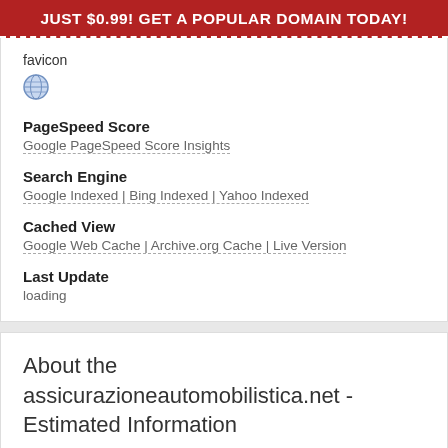JUST $0.99! GET A POPULAR DOMAIN TODAY!
favicon
[Figure (illustration): Globe/world icon in blue and white, representing a web favicon placeholder]
PageSpeed Score
Google PageSpeed Score Insights
Search Engine
Google Indexed | Bing Indexed | Yahoo Indexed
Cached View
Google Web Cache | Archive.org Cache | Live Version
Last Update
loading
About the assicurazioneautomobilistica.net - Estimated Information